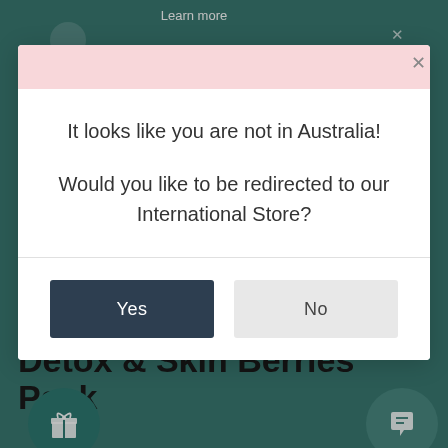[Figure (screenshot): Website page background showing a teal/green e-commerce site with 'Learn more' button at top and 'Detox & Skin Berries Pack' product title at bottom, with gift and chat icon buttons]
[Figure (screenshot): Modal dialog with pink header bar, message 'It looks like you are not in Australia! Would you like to be redirected to our International Store?' and Yes/No buttons]